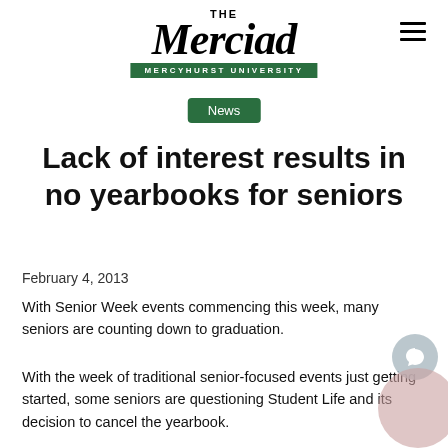THE Merciad — MERCYHURST UNIVERSITY
News
Lack of interest results in no yearbooks for seniors
February 4, 2013
With Senior Week events commencing this week, many seniors are counting down to graduation.
With the week of traditional senior-focused events just getting started, some seniors are questioning Student Life and its decision to cancel the yearbook.